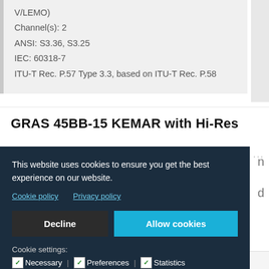V/LEMO)
Channel(s): 2
ANSI: S3.36, S3.25
IEC: 60318-7
ITU-T Rec. P.57 Type 3.3, based on ITU-T Rec. P.58
GRAS 45BB-15 KEMAR with Hi-Res
This website uses cookies to ensure you get the best experience on our website.
Cookie policy   Privacy policy
Decline
Allow cookies
Cookie settings:
Necessary | Preferences | Statistics
Connection: Constant Current Power (9 V/CCP)